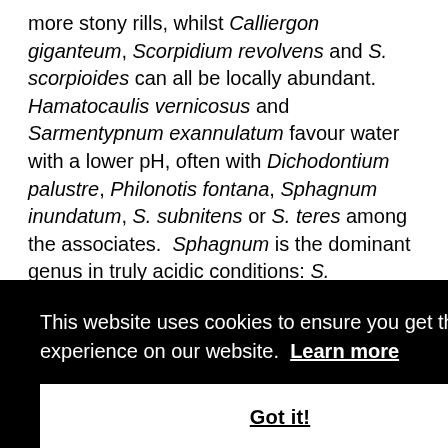more stony rills, whilst Calliergon giganteum, Scorpidium revolvens and S. scorpioides can all be locally abundant. Hamatocaulis vernicosus and Sarmentypnum exannulatum favour water with a lower pH, often with Dichodontium palustre, Philonotis fontana, Sphagnum inundatum, S. subnitens or S. teres among the associates.  Sphagnum is the dominant genus in truly acidic conditions: S. denticulatum, S. fallax, S. fimbriatum and S. palustre are regular components of acid flushes, together with Straminergon stramineum and Polytrichum commune.
This website uses cookies to ensure you get the best experience on our website. Learn more
Got it!
[Figure (photo): Close-up photo of green moss, visible in the lower-right corner and bottom of the page.]